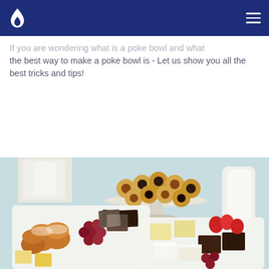Navigation header with logo and hamburger menu
If you are wondering what is a poke bowl and what the best way to make a poke bowl is - Let us show you all the best tricks and tips!
READ MORE
[Figure (photo): Assorted pastries and desserts on white plates and a cake stand, including mini donuts, brownies, muffins, lemon bars, and fresh fruit on a light blue background.]